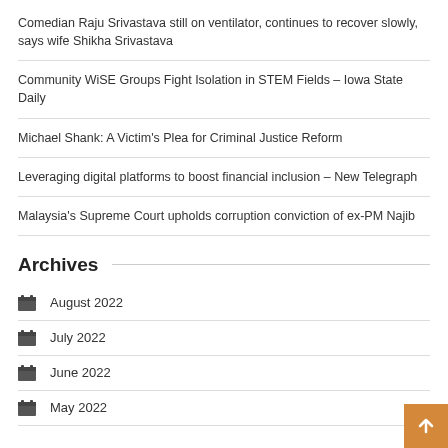Comedian Raju Srivastava still on ventilator, continues to recover slowly, says wife Shikha Srivastava
Community WiSE Groups Fight Isolation in STEM Fields – Iowa State Daily
Michael Shank: A Victim's Plea for Criminal Justice Reform
Leveraging digital platforms to boost financial inclusion – New Telegraph
Malaysia's Supreme Court upholds corruption conviction of ex-PM Najib
Archives
August 2022
July 2022
June 2022
May 2022